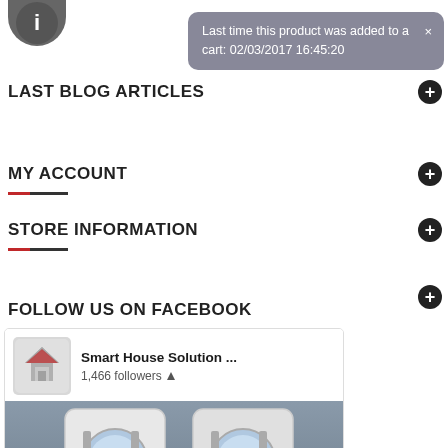[Figure (screenshot): Grey circular icon at top left]
Last time this product was added to a cart: 02/03/2017 16:45:20
LAST BLOG ARTICLES
MY ACCOUNT
STORE INFORMATION
FOLLOW US ON FACEBOOK
[Figure (screenshot): Facebook follow page widget showing Smart House Solution page with 1,466 followers, thermostat image background, Follow Page and Share buttons]